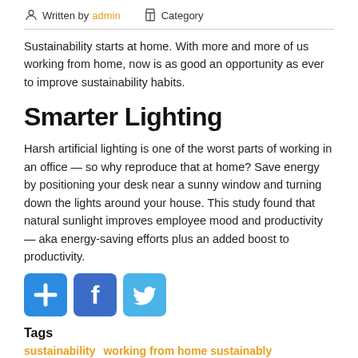Written by admin    Category
Sustainability starts at home. With more and more of us working from home, now is as good an opportunity as ever to improve sustainability habits.
Smarter Lighting
Harsh artificial lighting is one of the worst parts of working in an office — so why reproduce that at home? Save energy by positioning your desk near a sunny window and turning down the lights around your house. This study found that natural sunlight improves employee mood and productivity — aka energy-saving efforts plus an added boost to productivity.
[Figure (infographic): Three social share buttons: a blue plus/add button, a Facebook button, and a Twitter button]
Tags
sustainability
working from home sustainably